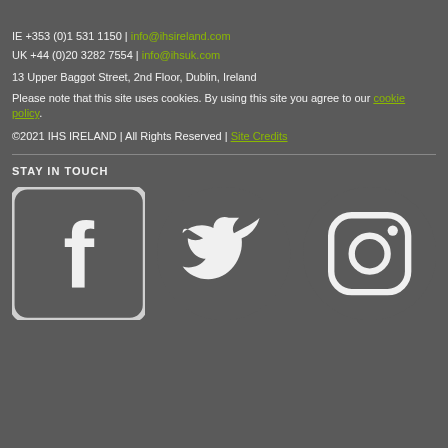IE +353 (0)1 531 1150 | info@ihsireland.com
UK +44 (0)20 3282 7554 | info@ihsuk.com
13 Upper Baggot Street, 2nd Floor, Dublin, Ireland
Please note that this site uses cookies. By using this site you agree to our cookie policy.
©2021 IHS IRELAND | All Rights Reserved | Site Credits
STAY IN TOUCH
[Figure (illustration): Social media icons: Facebook, Twitter, Instagram]